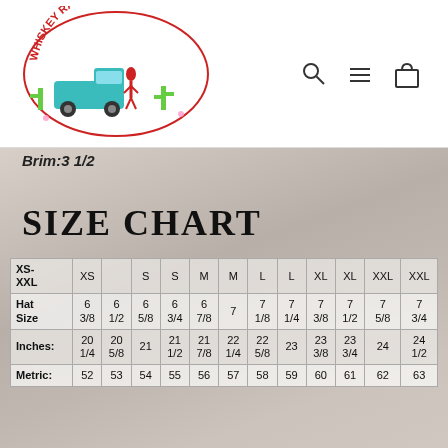[Figure (logo): Whiskey Ray's Boutique circular logo with truck, woman, and cacti]
Brim: 3 1/2
SIZE CHART
|  | XS-XXL | XS |  | S | S | M | M | L | L | XL | XL | XXL | XXL |
| --- | --- | --- | --- | --- | --- | --- | --- | --- | --- | --- | --- | --- | --- |
| Hat Size | 6 3/8 | 6 1/2 | 6 5/8 | 6 3/4 | 6 7/8 | 7 | 7 1/8 | 7 1/4 | 7 3/8 | 7 1/2 | 7 5/8 | 7 3/4 | 7 7/8 | 8 |
| Inches: | 20 1/4 | 20 5/8 | 21 | 21 1/2 | 21 7/8 | 22 1/4 | 22 5/8 | 23 | 23 3/8 | 23 3/4 | 24 | 24 1/2 | 25 | 25 1/2 |
| Metric: | 51 | 52 | 53 | 54 | 55 | 56 | 57 | 58 | 59 | 60 | 61 | 62 | 63 | 64 |